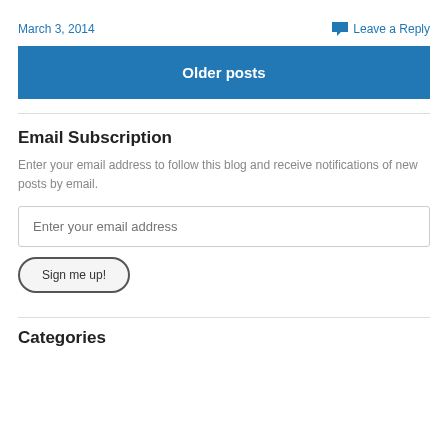March 3, 2014
Leave a Reply
Older posts
Email Subscription
Enter your email address to follow this blog and receive notifications of new posts by email.
Enter your email address
Sign me up!
Categories